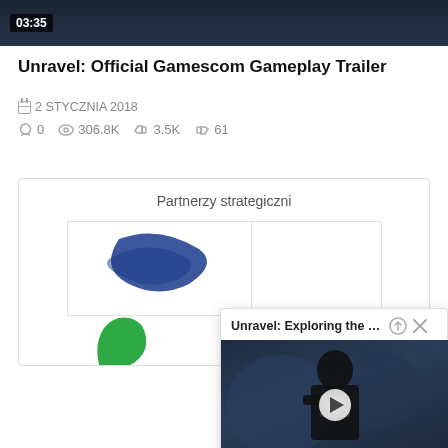[Figure (screenshot): Dark video thumbnail showing time badge 03:35 in top-left corner]
Unravel: Official Gamescom Gameplay Trailer
2 STYCZNIA 2018
0  306.8K  3.5K  61
Partnerzy strategiczni
[Figure (logo): Partner logo with blue swoosh shape]
[Figure (screenshot): Popup video player showing 'Unravel: Exploring the Envir...' with a person holding a camera in a dark scene, with up arrow and close (x) icons]
Unravel: Exploring the Envir...